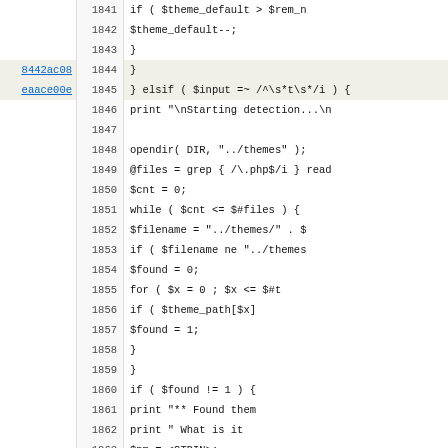[Figure (screenshot): Source code viewer showing Perl code lines 1841-1873 with line numbers, commit hashes (8442ac08, eaace00e) in left margin, and highlighted rows for certain commits. The code includes theme detection logic with opendir, grep, while loops, for loops, and print statements.]